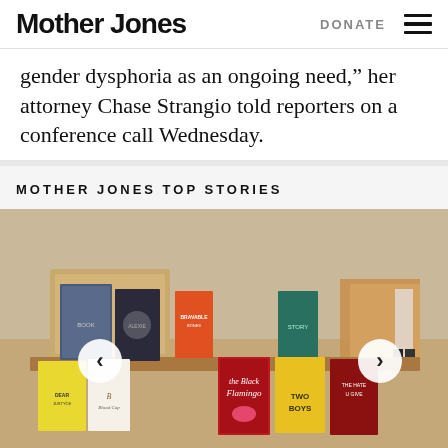Mother Jones | DONATE
gender dysphoria as an ongoing need,” her attorney Chase Strangio told reporters on a conference call Wednesday.
MOTHER JONES TOP STORIES
[Figure (photo): Photo of multiple book covers displayed on a table in what appears to a library or bookstore, including 'the Black Flamingo' and other titles visible. Two navigation arrows (left and right) overlay the photo for a carousel.]